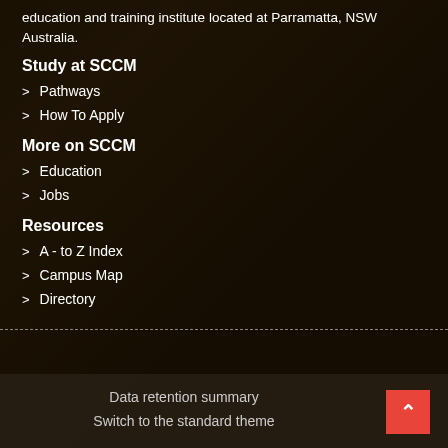education and training institute located at Parramatta, NSW Australia.
Study at SCCM
> Pathways
> How To Apply
More on SCCM
> Education
> Jobs
Resources
> A - to Z Index
> Campus Map
> Directory
Data retention summary
Switch to the standard theme